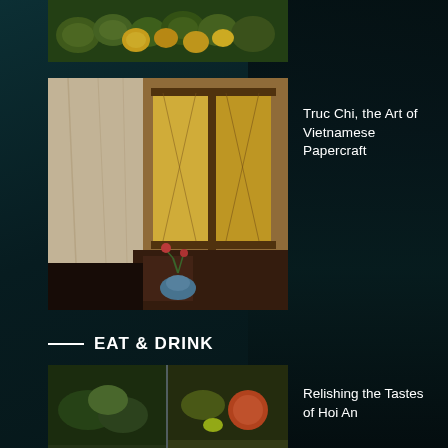[Figure (photo): Top partial image showing vegetables and produce, colorful market scene]
[Figure (photo): Vietnamese room interior with decorative window panels, warm golden light, wooden furniture and flowers]
Truc Chi, the Art of Vietnamese Papercraft
EAT & DRINK
[Figure (photo): Two food photos side by side: left shows a grilled fish dish with garnish, right shows a bowl of Vietnamese noodle soup with vegetables]
Relishing the Tastes of Hoi An
[Figure (photo): Rice paper rounds drying on bamboo racks outdoors in Hoi An, with trees and buildings in background]
Vietnam's Unique Contribution to the Global Pantry